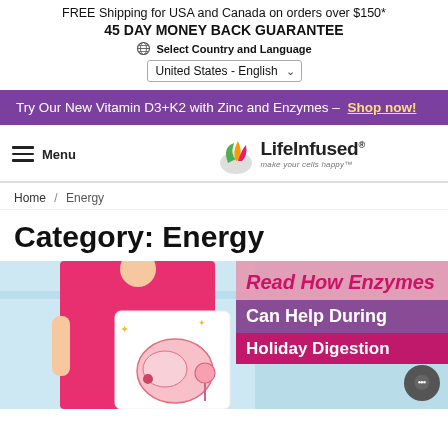FREE Shipping for USA and Canada on orders over $150*
45 DAY MONEY BACK GUARANTEE
⊕ Select Country and Language
United States - English
Try Our New Vitamin D3+K2 with Zinc and Enzymes – Shop now!
[Figure (logo): LifeInfused logo with flame/leaf icon and tagline 'make your cells happy']
Home / Energy
Category: Energy
[Figure (photo): Woman in pink top holding a sign with cartoon intestine illustration. Overlay text reads: 'Read How Enzymes Can Help During Holiday Digestion']